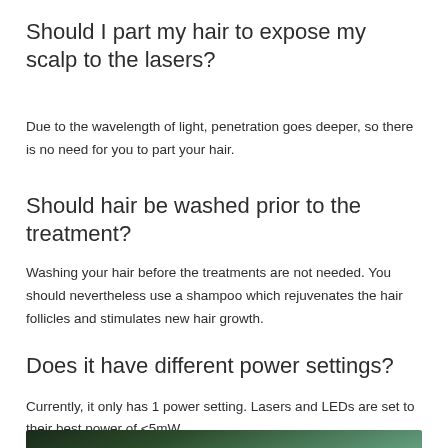Should I part my hair to expose my scalp to the lasers?
Due to the wavelength of light, penetration goes deeper, so there is no need for you to part your hair.
Should hair be washed prior to the treatment?
Washing your hair before the treatments are not needed. You should nevertheless use a shampoo which rejuvenates the hair follicles and stimulates new hair growth.
Does it have different power settings?
Currently, it only has 1 power setting. Lasers and LEDs are set to their best power of <5mW.
[Figure (photo): Partial photo of a person outdoors with greenery/trees in the background, cropped to show only the top portion.]